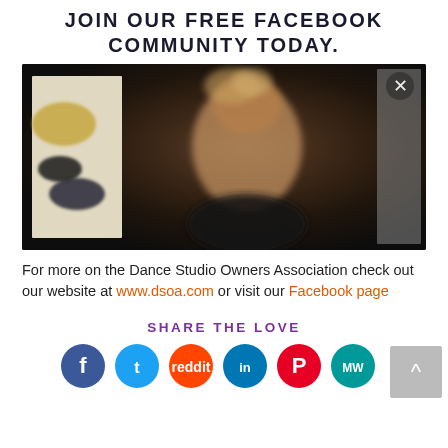JOIN OUR FREE FACEBOOK COMMUNITY TODAY.
[Figure (photo): Blurred video thumbnail of a person with blonde hair in a room with abstract artwork on the wall. An X close button is visible in the top right corner.]
For more on the Dance Studio Owners Association check out our website at www.dsoa.com or visit our Facebook page
SHARE THE LOVE
[Figure (infographic): Row of social media icon buttons: Facebook (blue), Twitter (light blue), Reddit (orange), LinkedIn (blue), Pinterest (red), MW (teal)]